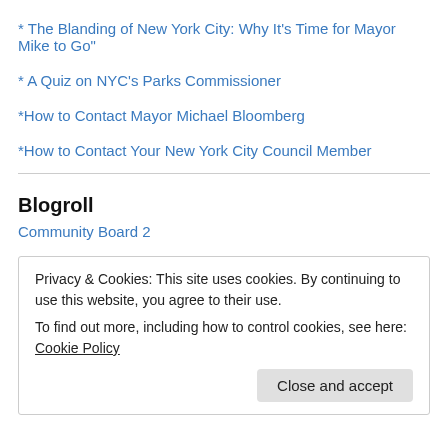* The Blanding of New York City: Why It's Time for Mayor Mike to Go"
* A Quiz on NYC's Parks Commissioner
*How to Contact Mayor Michael Bloomberg
*How to Contact Your New York City Council Member
Blogroll
Community Board 2
Privacy & Cookies: This site uses cookies. By continuing to use this website, you agree to their use.
To find out more, including how to control cookies, see here: Cookie Policy
Close and accept